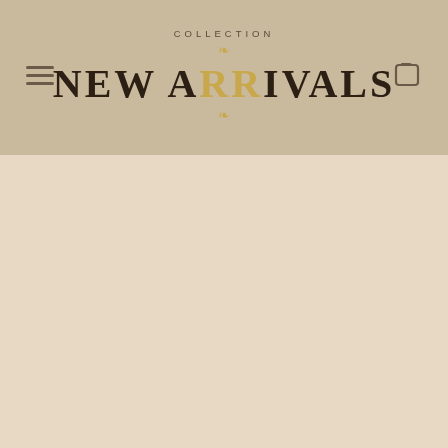COLLECTION — NEW ARRIVALS
[Figure (screenshot): E-commerce website header with hamburger menu icon on the left, shopping bag icon on the right, 'COLLECTION' text with ornamental flourish above, large bold 'NEW ARRIVALS' title with decorative ornament below, on a taupe/tan background. Below the header is a plain light beige content area.]